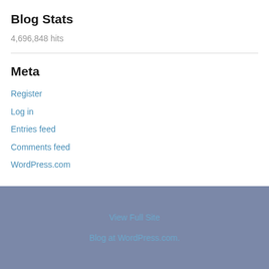Blog Stats
4,696,848 hits
Meta
Register
Log in
Entries feed
Comments feed
WordPress.com
View Full Site
Blog at WordPress.com.